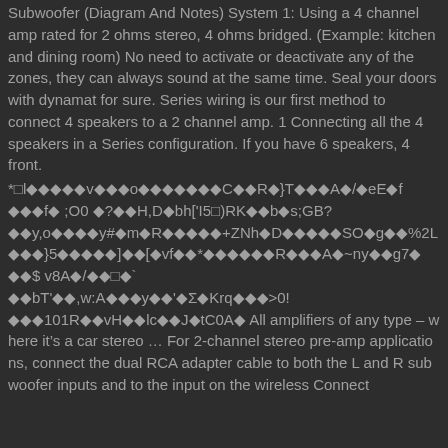Subwoofer (Diagram And Notes) System 1: Using a 4 channel amp rated for 2 ohms stereo, 4 ohms bridged. (Example: kitchen and dining room) No need to activate or deactivate any of the zones, they can always sound at the same time. Seal your doors with dynamat for sure. Series wiring is our first method to connect 4 speakers to a 2 channel amp. 1 Connecting all the 4 speakers in a Series configuration. If you have 6 speakers, 4 front.
*□l◆◆◆◆◆v◆◆◆o◆◆◆◆◆◆◆C◆◆R◆}T◆◆◆A◆/◆eE◆f ◆◆◆f◆ ;O0 ◆?◆◆H,D◆bh['I5□)RK◆◆b◆s;GB? ◆◆y,o◆◆◆◆y#◆m◆R◆◆◆◆◆+ZNh◆D◆◆◆◆◆SO◆g◆◆%2L ◆◆◆}5◆◆◆◆◆]◆◆[◆vf◆◆*◆◆◆◆◆◆R◆◆◆A◆~ny◆◆g7◆ ◆◆$ v8A◆/◆◆□◆` ◆◆bT'◆◆,w:A◆◆◆y◆◆'◆Σ◆Krq◆◆◆>0! ◆◆◆101R◆◆vH◆◆lc◆◆J◆tC0A◆ All amplifiers of any type – where it's a car stereo ... For 2-channel stereo pre-amp applications, connect the dual RCA adapter cable to both the L and R subwoofer inputs and to the input on the wireless Connect